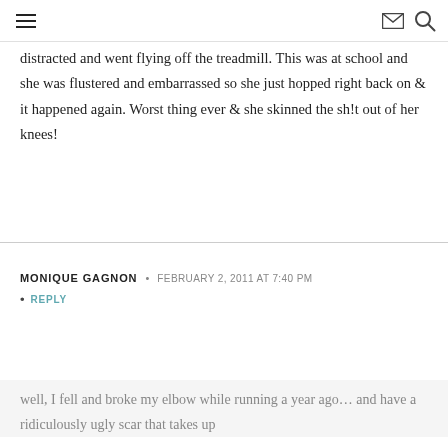[hamburger menu icon] [envelope icon] [search icon]
distracted and went flying off the treadmill. This was at school and she was flustered and embarrassed so she just hopped right back on & it happened again. Worst thing ever & she skinned the sh!t out of her knees!
MONIQUE GAGNON · FEBRUARY 2, 2011 AT 7:40 PM
• REPLY
well, I fell and broke my elbow while running a year ago… and have a ridiculously ugly scar that takes up